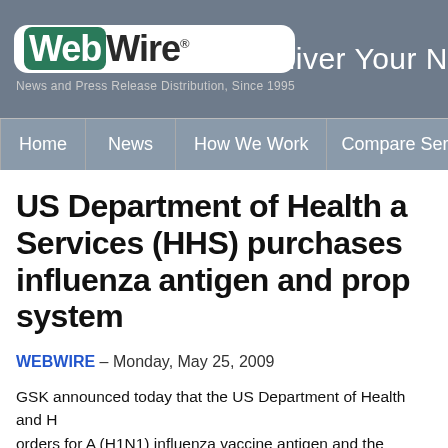WebWire® — News and Press Release Distribution, Since 1995 | Deliver Your N
Home | News | How We Work | Compare Services
US Department of Health and Services (HHS) purchases influenza antigen and prop system
WEBWIRE – Monday, May 25, 2009
GSK announced today that the US Department of Health and H orders for A (H1N1) influenza vaccine antigen and the company support its pandemic influenza preparation efforts.